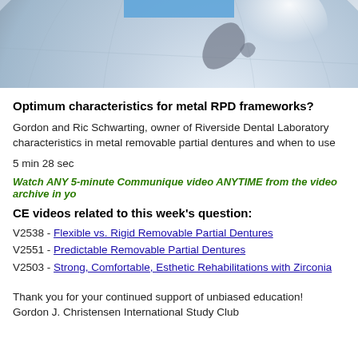[Figure (illustration): Stylized globe image with blue and gray tones, partially cropped, with a blue rectangle overlay at top center]
Optimum characteristics for metal RPD frameworks?
Gordon and Ric Schwarting, owner of Riverside Dental Laboratory characteristics in metal removable partial dentures and when to use
5 min 28 sec
Watch ANY 5-minute Communique video ANYTIME from the video archive in yo
CE videos related to this week's question:
V2538 - Flexible vs. Rigid Removable Partial Dentures
V2551 - Predictable Removable Partial Dentures
V2503 - Strong, Comfortable, Esthetic Rehabilitations with Zirconia
Thank you for your continued support of unbiased education!
Gordon J. Christensen International Study Club